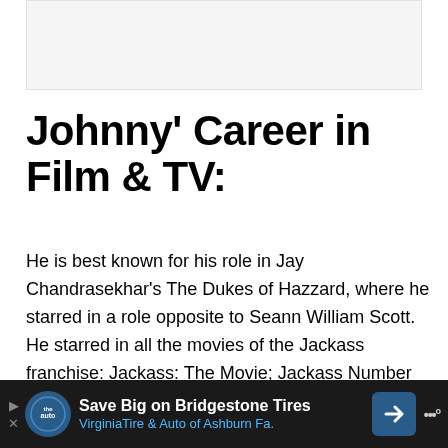[Figure (other): Gray placeholder box at top of page, likely an image or ad slot]
Johnny' Career in Film & TV:
He is best known for his role in Jay Chandrasekhar's The Dukes of Hazzard, where he starred in a role opposite to Seann William Scott. He starred in all the movies of the Jackass franchise: Jackass: The Movie; Jackass Number Two, and Jackass 3D. In Men in Black II, he had the role of a two-headed alien. He walked as a supporting character in the movie Walking Tall, which also starred The Rock. Johnny also starred in the movie Daltry Co...
[Figure (other): Advertisement bar at bottom: Save Big on Bridgestone Tires - VirginiaTire & Auto of Ashburn Fa.]